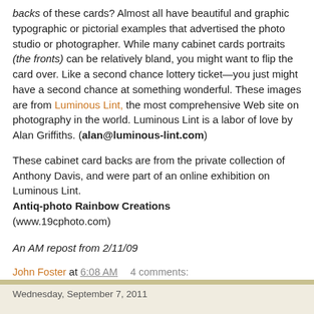backs of these cards? Almost all have beautiful and graphic typographic or pictorial examples that advertised the photo studio or photographer. While many cabinet cards portraits (the fronts) can be relatively bland, you might want to flip the card over. Like a second chance lottery ticket—you just might have a second chance at something wonderful. These images are from Luminous Lint, the most comprehensive Web site on photography in the world. Luminous Lint is a labor of love by Alan Griffiths. (alan@luminous-lint.com)
These cabinet card backs are from the private collection of Anthony Davis, and were part of an online exhibition on Luminous Lint.
Antiq-photo Rainbow Creations
(www.19cphoto.com)
An AM repost from 2/11/09
John Foster at 6:08 AM    4 comments:
Wednesday, September 7, 2011